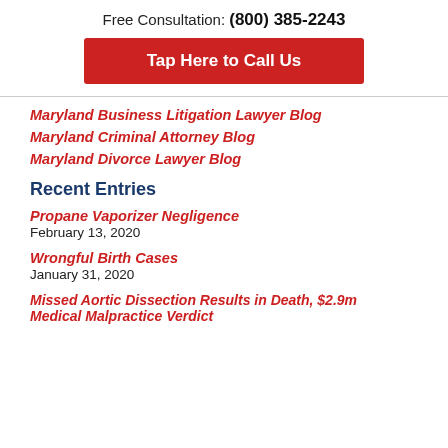Free Consultation: (800) 385-2243
Tap Here to Call Us
Maryland Business Litigation Lawyer Blog
Maryland Criminal Attorney Blog
Maryland Divorce Lawyer Blog
Recent Entries
Propane Vaporizer Negligence
February 13, 2020
Wrongful Birth Cases
January 31, 2020
Missed Aortic Dissection Results in Death, $2.9m Medical Malpractice Verdict